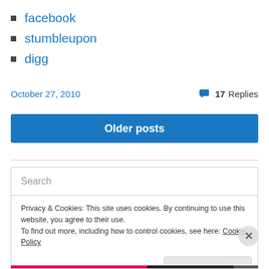facebook
stumbleupon
digg
October 27, 2010    💬 17 Replies
Older posts
Search
Privacy & Cookies: This site uses cookies. By continuing to use this website, you agree to their use.
To find out more, including how to control cookies, see here: Cookie Policy
Close and accept